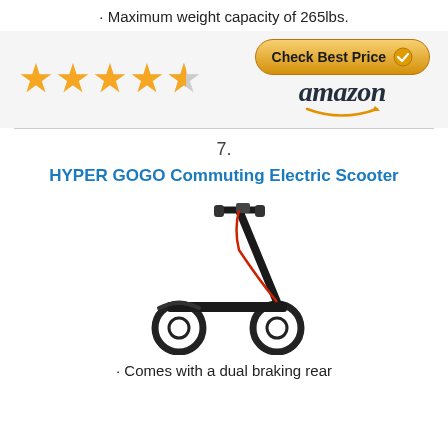· Maximum weight capacity of 265lbs.
[Figure (other): 4.5 star rating with gold stars and Amazon Check Best Price button with Amazon logo]
7.
HYPER GOGO Commuting Electric Scooter
[Figure (photo): Black electric scooter standing upright with handlebars, thin stem, deck, and two wheels with red accent]
· Comes with a dual braking rear